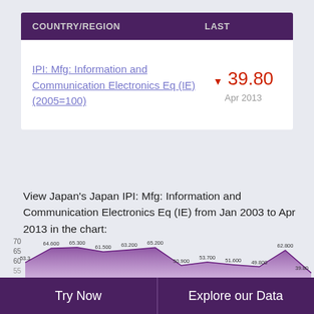| COUNTRY/REGION | LAST |
| --- | --- |
| IPI: Mfg: Information and Communication Electronics Eq (IE) (2005=100) | ▼ 39.80
Apr 2013 |
View Japan's Japan IPI: Mfg: Information and Communication Electronics Eq (IE) from Jan 2003 to Apr 2013 in the chart:
[Figure (area-chart): Japan IPI: Mfg: Information and Communication Electronics Eq (IE)]
Try Now    Explore our Data